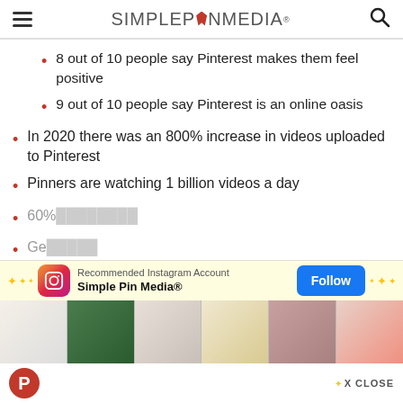SIMPLE PIN MEDIA
8 out of 10 people say Pinterest makes them feel positive
9 out of 10 people say Pinterest is an online oasis
In 2020 there was an 800% increase in videos uploaded to Pinterest
Pinners are watching 1 billion videos a day
60%...
Ge...
[Figure (screenshot): Instagram follow overlay widget showing 'Recommended Instagram Account' for Simple Pin Media® with a blue Follow button, sparkle decorations, and a strip of thumbnail images.]